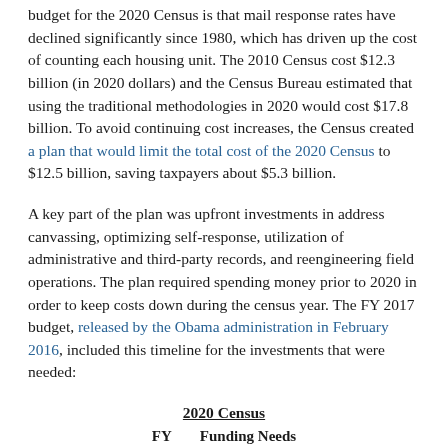budget for the 2020 Census is that mail response rates have declined significantly since 1980, which has driven up the cost of counting each housing unit. The 2010 Census cost $12.3 billion (in 2020 dollars) and the Census Bureau estimated that using the traditional methodologies in 2020 would cost $17.8 billion. To avoid continuing cost increases, the Census created a plan that would limit the total cost of the 2020 Census to $12.5 billion, saving taxpayers about $5.3 billion.
A key part of the plan was upfront investments in address canvassing, optimizing self-response, utilization of administrative and third-party records, and reengineering field operations. The plan required spending money prior to 2020 in order to keep costs down during the census year. The FY 2017 budget, released by the Obama administration in February 2016, included this timeline for the investments that were needed:
| FY | Funding Needs |
| --- | --- |